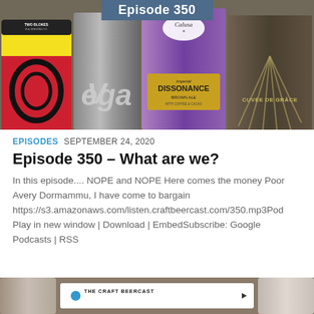[Figure (photo): Photo of four craft beer cans arranged side by side on a surface. Left can is Two Blokes Brewing Co with yellow and red design. Second can is dark/grey labeled Vega. Third can is purple with Calusa Imperial Dissonance Brown Ale label. Fourth can is olive/dark with Cuvée De Grâce label. Top center has a blue banner reading 'Episode 350'.]
EPISODES  SEPTEMBER 24, 2020
Episode 350 – What are we?
In this episode.... NOPE and NOPE Here comes the money Poor Avery Dormammu, I have come to bargain https://s3.amazonaws.com/listen.craftbeercast.com/350.mp3Pod Play in new window | Download | EmbedSubscribe: Google Podcasts | RSS
[Figure (photo): Partial photo at bottom showing two silver beer cans on either side of a white sign reading 'THE CRAFT BEERCAST' with a blue circle icon.]